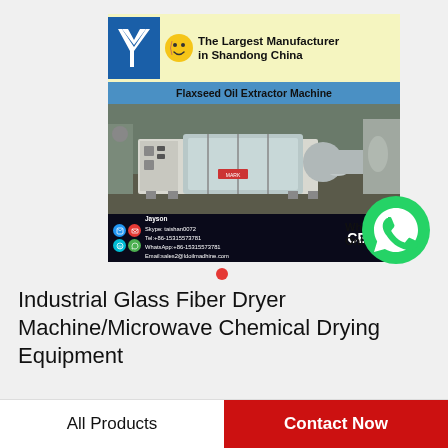[Figure (photo): Product listing image showing a Flaxseed Oil Extractor Machine (industrial dryer/chemical drying equipment). Top banner reads 'The Largest Manufacturer in Shandong China' with a logo and smiley face. Blue sub-banner reads 'Flaxseed Oil Extractor Machine'. Main image shows a white/grey industrial machine. Bottom contact strip shows Jayson's contact details including Skype, Tel, WhatsApp, Email, CE and ISO logos. A WhatsApp green circle icon appears to the right. A red navigation dot appears below.]
Industrial Glass Fiber Dryer Machine/Microwave Chemical Drying Equipment
All Products
Contact Now